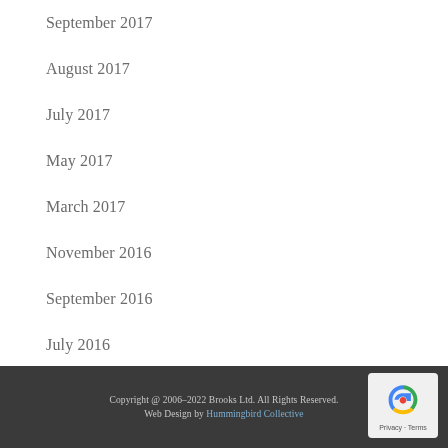September 2017
August 2017
July 2017
May 2017
March 2017
November 2016
September 2016
July 2016
Copyright @ 2006–2022 Brooks Ltd. All Rights Reserved. Web Design by Hummingbird Collective